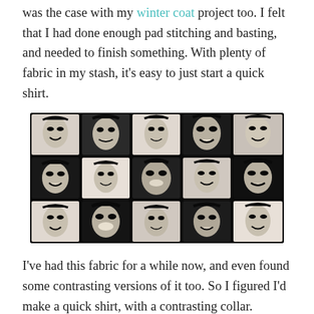was the case with my winter coat project too. I felt that I had done enough pad stitching and basting, and needed to finish something. With plenty of fabric in my stash, it's easy to just start a quick shirt.
[Figure (photo): Close-up photo of black and white fabric printed with a repeating pattern of stylized pop-art women's faces.]
I've had this fabric for a while now, and even found some contrasting versions of it too. So I figured I'd make a quick shirt, with a contrasting collar. Maybe a